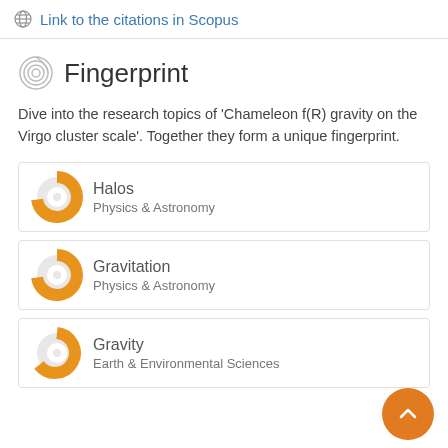Link to the citations in Scopus
Fingerprint
Dive into the research topics of 'Chameleon f(R) gravity on the Virgo cluster scale'. Together they form a unique fingerprint.
Halos — Physics & Astronomy
Gravitation — Physics & Astronomy
Gravity — Earth & Environmental Sciences